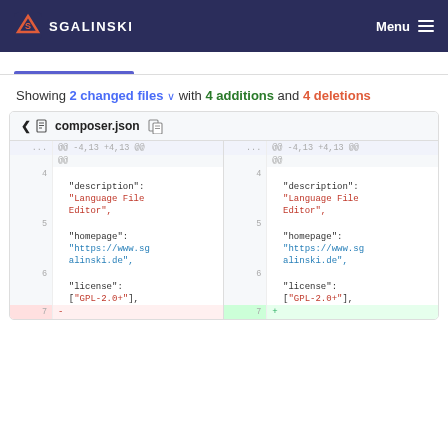SGALINSKI  Menu
Showing 2 changed files with 4 additions and 4 deletions
[Figure (screenshot): Git diff view of composer.json showing lines 4-7 with description, homepage, and license fields unchanged on both sides, with GPL-2.0+ string shown in red/green for deletion/addition on line 7]
composer.json